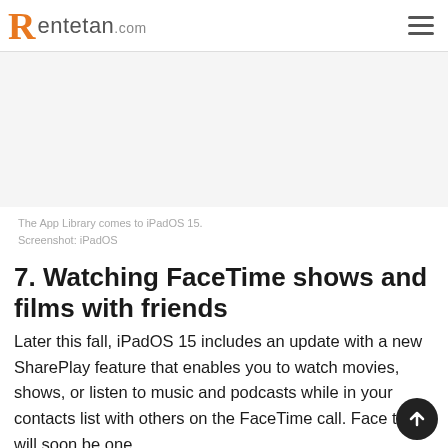Rentetan.com
[Figure (screenshot): Blank/light gray image placeholder representing a screenshot of the App Library in iPadOS 15]
The App Library comes to iPadOS 15.
Screenshot: iPadOS
7. Watching FaceTime shows and films with friends
Later this fall, iPadOS 15 includes an update with a new SharePlay feature that enables you to watch movies, shows, or listen to music and podcasts while in your contacts list with others on the FaceTime call. Face time will soon be one